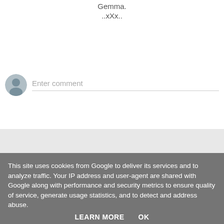Gemma.
..xXx..
[Figure (other): Gray circular avatar/profile icon placeholder]
Enter comment
This site uses cookies from Google to deliver its services and to analyze traffic. Your IP address and user-agent are shared with Google along with performance and security metrics to ensure quality of service, generate usage statistics, and to detect and address abuse.
LEARN MORE    OK